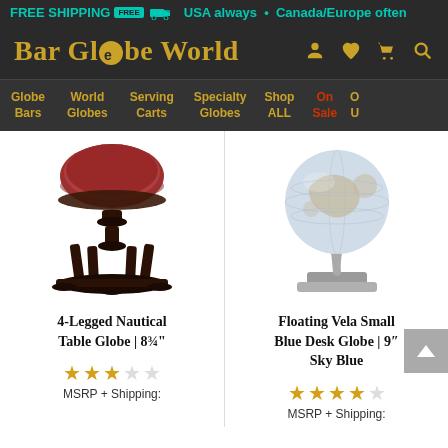FREE SHIPPING 🚚 FREE  USA always · Canada/Europe often
[Figure (logo): Bar Globe World logo in gold serif font on dark background with navigation icons]
Globe Bars | World Globes | Serving Carts | Specialty Globes | Shop ALL | On Sale
[Figure (photo): 4-Legged Nautical Table Globe product photo showing dark wood stand with globe on white background]
[Figure (photo): Floating Vela Small Blue Desk Globe product photo showing silver modern stand with sky blue globe on white background]
4-Legged Nautical Table Globe | 8¾"
Floating Vela Small Blue Desk Globe | 9" Sky Blue
★★★☆☆  MSRP + Shipping:
★★★★☆  MSRP + Shipping: